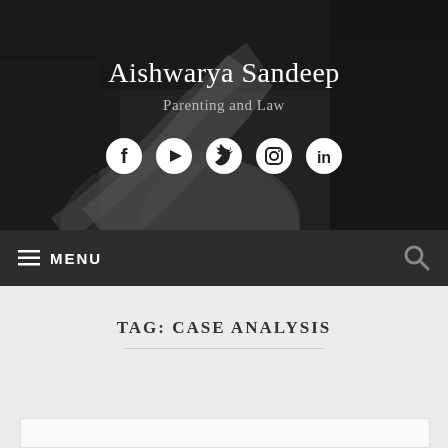[Figure (screenshot): Website header with dark background showing a winding road through trees, site title 'Aishwarya Sandeep', subtitle 'Parenting and Law', and social media icons for Facebook, YouTube, Twitter, Instagram, LinkedIn]
Aishwarya Sandeep
Parenting and Law
≡ MENU
TAG: CASE ANALYSIS